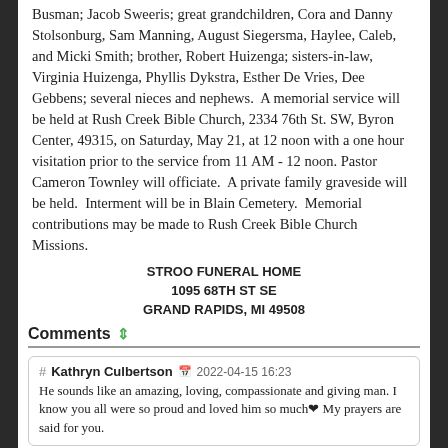Busman; Jacob Sweeris; great grandchildren, Cora and Danny Stolsonburg, Sam Manning, August Siegersma, Haylee, Caleb, and Micki Smith; brother, Robert Huizenga; sisters-in-law, Virginia Huizenga, Phyllis Dykstra, Esther De Vries, Dee Gebbens; several nieces and nephews.  A memorial service will be held at Rush Creek Bible Church, 2334 76th St. SW, Byron Center, 49315, on Saturday, May 21, at 12 noon with a one hour visitation prior to the service from 11 AM - 12 noon.  Pastor Cameron Townley will officiate.  A private family graveside will be held.  Interment will be in Blain Cemetery.  Memorial contributions may be made to Rush Creek Bible Church Missions.
STROO FUNERAL HOME
1095 68TH ST SE
GRAND RAPIDS, MI 49508
Comments
# Kathryn Culbertson 2022-04-15 16:23
He sounds like an amazing, loving, compassionate and giving man. I know you all were so proud and loved him so much❤ My prayers are said for you.
# Kristen Bannon 2022-04-15 14:05
I'm so glad I got to meet you last month! Our thoughts